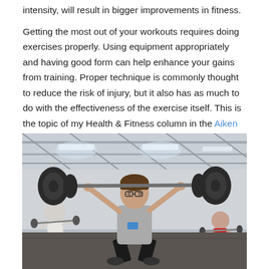intensity, will result in bigger improvements in fitness.
Getting the most out of your workouts requires doing exercises properly. Using equipment appropriately and having good form can help enhance your gains from training. Proper technique is commonly thought to reduce the risk of injury, but it also has as much to do with the effectiveness of the exercise itself. This is the topic of my Health & Fitness column in the Aiken Standard this week.
[Figure (photo): A woman performing a barbell overhead squat or clean in a large gymnasium/CrossFit box. She is wearing a grey shirt and black shorts, holding a loaded barbell overhead with arms extended. Other athletes are visible in the background. The gym has high industrial ceilings with overhead fluorescent lighting.]